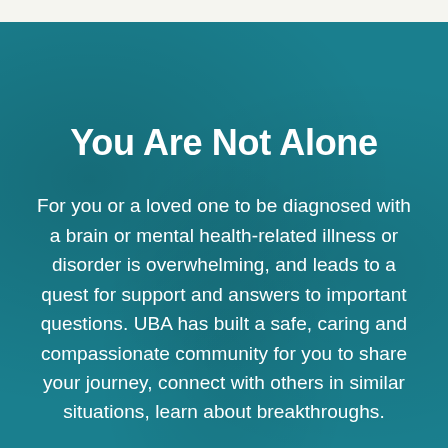You Are Not Alone
For you or a loved one to be diagnosed with a brain or mental health-related illness or disorder is overwhelming, and leads to a quest for support and answers to important questions. UBA has built a safe, caring and compassionate community for you to share your journey, connect with others in similar situations, learn about breakthroughs.